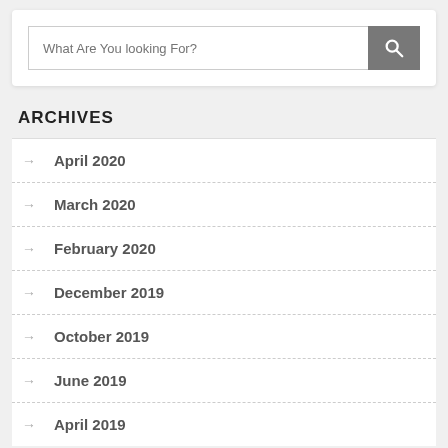What Are You looking For?
ARCHIVES
April 2020
March 2020
February 2020
December 2019
October 2019
June 2019
April 2019